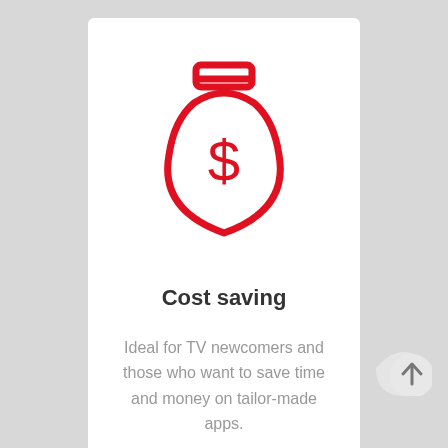[Figure (illustration): A red outline icon of a money bag with a dollar sign on it]
Cost saving
Ideal for TV newcomers and those who want to save time and money on tailor-made apps.